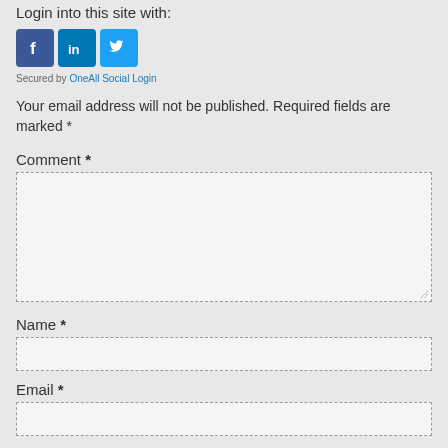Login into this site with:
[Figure (screenshot): Social login buttons: Facebook (blue square with f icon), LinkedIn (blue square with 'in' icon), Twitter (light blue square with bird icon)]
Secured by OneAll Social Login
Your email address will not be published. Required fields are marked *
Comment *
Name *
Email *